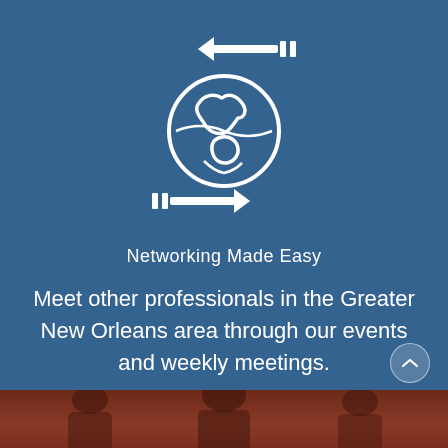[Figure (illustration): Globe/world icon with two horizontal arrows (one pointing left at top, one pointing right at bottom) encircling the globe, rendered in white outline style on blue background with handshake background photo.]
Networking Made Easy
Meet other professionals in the Greater New Orleans area through our events and weekly meetings.
[Figure (photo): Bottom strip showing a group of people in a reddish-brown tinted photo, partially visible.]